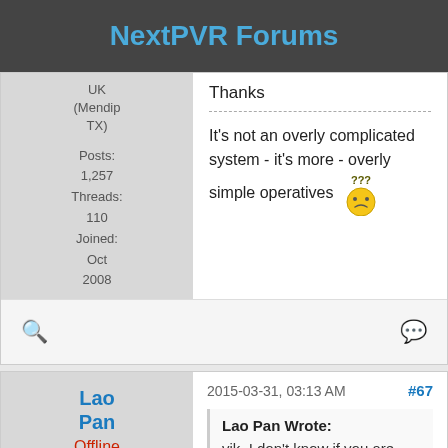NextPVR Forums
UK (Mendip TX)
Posts: 1,257
Threads: 110
Joined: Oct 2008
Thanks
It's not an overly complicated system - it's more - overly simple operatives ???
Lao Pan
Offline
2015-03-31, 03:13 AM  #67
Lao Pan Wrote:
vik, I don't know if you are around